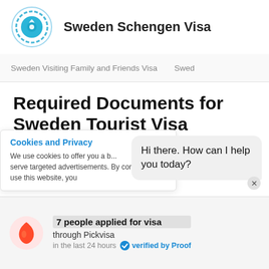Sweden Schengen Visa
Sweden Visiting Family and Friends Visa  Swed
Required Documents for Sweden Tourist Visa
1. Application Form
Fully completed in English or Swedish and
Cookies and Privacy
We use cookies to offer you a b... serve targeted advertisements. By continuing to use this website, you
Hi there. How can I help you today?
7 people applied for visa
through Pickvisa
in the last 24 hours  verified by Proof